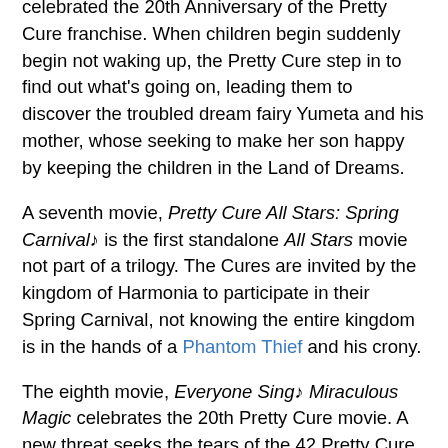celebrated the 20th Anniversary of the Pretty Cure franchise. When children begin suddenly begin not waking up, the Pretty Cure step in to find out what's going on, leading them to discover the troubled dream fairy Yumeta and his mother, whose seeking to make her son happy by keeping the children in the Land of Dreams.
A seventh movie, Pretty Cure All Stars: Spring Carnival♪ is the first standalone All Stars movie not part of a trilogy. The Cures are invited by the kingdom of Harmonia to participate in their Spring Carnival, not knowing the entire kingdom is in the hands of a Phantom Thief and his crony.
The eighth movie, Everyone Sing♪ Miraculous Magic celebrates the 20th Pretty Cure movie. A new threat seeks the tears of the 42 Pretty Cure (the 41 TV heroines plus Cure Echo), which has the power to destroy the world.
On October 29th, 2016, it was revealed that the movie series would be retroactively expanded as Pretty Cure Stars, a crossover series with similar premise but with a more